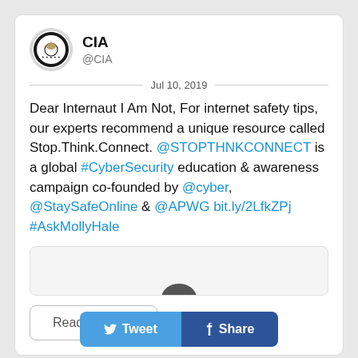[Figure (logo): CIA circular seal logo]
CIA
@CIA
Jul 10, 2019
Dear Internaut I Am Not, For internet safety tips, our experts recommend a unique resource called Stop.Think.Connect. @STOPTHNKCONNECT is a global #CyberSecurity education & awareness campaign co-founded by @cyber, @StaySafeOnline & @APWG bit.ly/2LfkZPj #AskMollyHale
[Figure (screenshot): Embedded tweet preview thumbnail showing partial icon]
Read 4 tweets
Tweet
Share